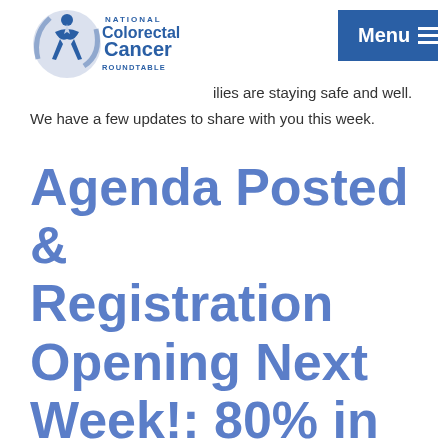[Figure (logo): National Colorectal Cancer Roundtable logo with circular blue swoosh and human figure, text reads NATIONAL Colorectal Cancer ROUNDTABLE]
Menu ≡
ilies are staying safe and well.
We have a few updates to share with you this week.
Agenda Posted & Registration Opening Next Week!: 80% in Every Community Conference &